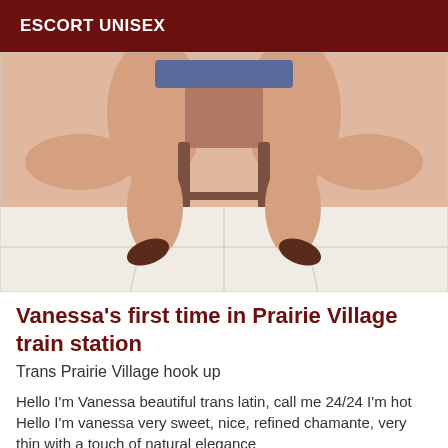ESCORT UNISEX
[Figure (photo): Photo showing legs of a person seated on a stool, wearing high heels, on a white tile floor.]
Vanessa's first time in Prairie Village train station
Trans Prairie Village hook up
Hello I'm Vanessa beautiful trans latin, call me 24/24 I'm hot Hello I'm vanessa very sweet, nice, refined chamante, very thin with a touch of natural elegance